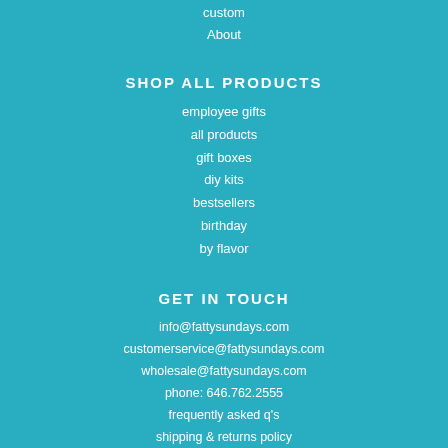custom
About
SHOP ALL PRODUCTS
employee gifts
all products
gift boxes
diy kits
bestsellers
birthday
by flavor
GET IN TOUCH
info@fattysundays.com
customerservice@fattysundays.com
wholesale@fattysundays.com
phone: 646.762.2555
frequently asked q's
shipping & returns policy